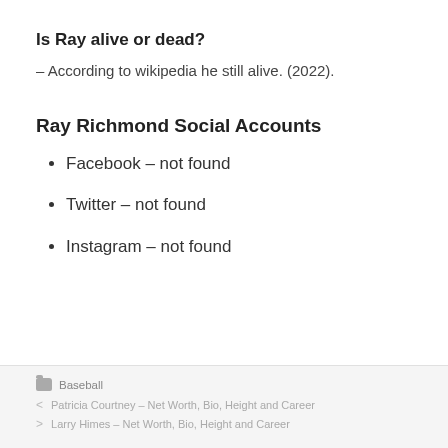Is Ray alive or dead?
– According to wikipedia he still alive. (2022).
Ray Richmond Social Accounts
Facebook – not found
Twitter – not found
Instagram – not found
Baseball
< Patricia Courtney – Net Worth, Bio, Height and Career
> Larry Himes – Net Worth, Bio, Height and Career